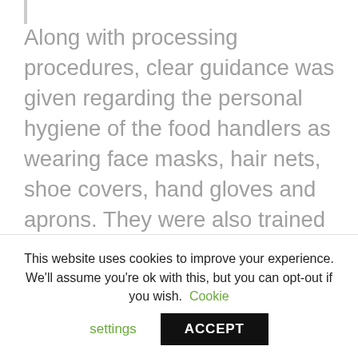Along with processing procedures, clear guidance was given regarding the personal hygiene of the food handlers as wearing face masks, hair nets, shoe covers, hand gloves and aprons. They were also trained on good handling practices, good manufacturing practices, the importance of CCPs, HACCP and plant hygiene during the processing of the food products.
This website uses cookies to improve your experience. We'll assume you're ok with this, but you can opt-out if you wish. Cookie settings ACCEPT